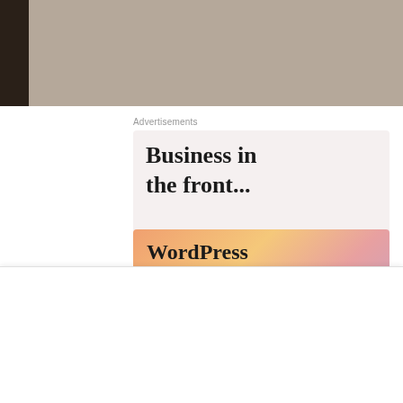[Figure (photo): Top portion of a book or cardboard surface in tan/brown color with dark left edge visible]
Advertisements
[Figure (other): Advertisement for WordPress: top half shows 'Business in the front...' in bold serif on light pink/gray background; bottom half shows 'WordPress in the back.' in bold serif on a colorful gradient background with orange, yellow, pink and purple blobs]
Privacy & Cookies: This site uses cookies. By continuing to use this website, you agree to their use.
To find out more, including how to control cookies, see here: Cookie Policy
Close and accept